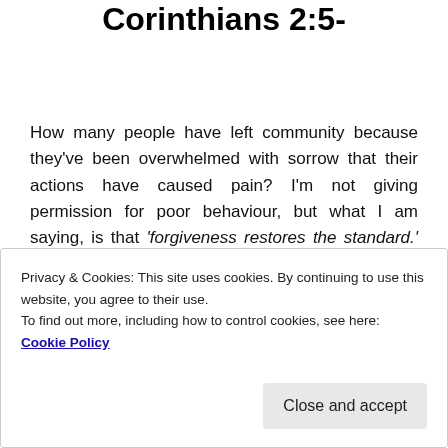Corinthians 2:5-
How many people have left community because they've been overwhelmed with sorrow that their actions have caused pain? I'm not giving permission for poor behaviour, but what I am saying, is that 'forgiveness restores the standard.' (Danny Silk) AND to withhold forgiveness is to be outwitted by satan?!?! (vs 11).
Love is the mark of true maturity. (Colossians 3:14) Are we truely mature?
Privacy & Cookies: This site uses cookies. By continuing to use this website, you agree to their use. To find out more, including how to control cookies, see here: Cookie Policy
Close and accept